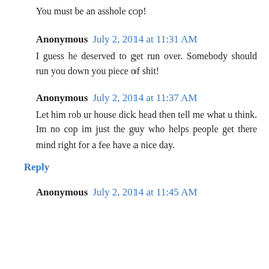You must be an asshole cop!
Anonymous July 2, 2014 at 11:31 AM
I guess he deserved to get run over. Somebody should run you down you piece of shit!
Anonymous July 2, 2014 at 11:37 AM
Let him rob ur house dick head then tell me what u think. Im no cop im just the guy who helps people get there mind right for a fee have a nice day.
Reply
Anonymous July 2, 2014 at 11:45 AM